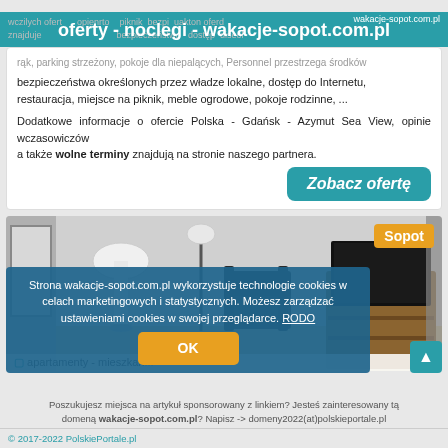oferty - noclegi - wakacje-sopot.com.pl
rąk, parking strzeżony, pokoje dla niepalących, Personnel przestrzega środków bezpieczeństwa określonych przez władze lokalne, dostęp do Internetu, restauracja, miejsce na piknik, meble ogrodowe, pokoje rodzinne, ...
Dodatkowe informacje o ofercie Polska - Gdańsk - Azymut Sea View, opinie wczasowiczów
a także wolne terminy znajdują na stronie naszego partnera.
Zobacz ofertę
[Figure (photo): Interior photo of a modern apartment room with white lamp, floor lamp, dark armchair, and wooden TV stand with TV, labeled Sopot in orange badge top right]
apartamenty - mieszkan...
Strona wakacje-sopot.com.pl wykorzystuje technologie cookies w celach marketingowych i statystycznych. Możesz zarządzać ustawieniami cookies w swojej przeglądarce. RODO
OK
Poszukujesz miejsca na artykuł sponsorowany z linkiem? Jesteś zainteresowany tą domeną wakacje-sopot.com.pl? Napisz -> domeny2022(at)polskieportale.pl
© 2017-2022 PolskiePortale.pl